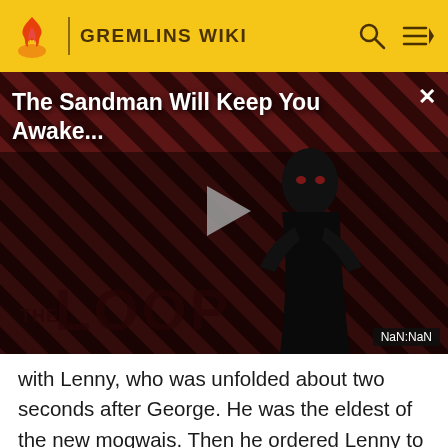GREMLINS WIKI
[Figure (screenshot): Video player showing 'The Sandman Will Keep You Awake...' with a dark dramatic figure against red diagonal striped background. THE LOOP branding visible at bottom. Play button in center. NaN:NaN timestamp shown. Close X button top right.]
with Lenny, who was unfolded about two seconds after George. He was the eldest of the new mogwais. Then he ordered Lenny to tear a vent open, but he accidentally got hit by the vent covering. Then he, Lenny, and Mohawk stuffed Gizmo inside the ventilation shaft and then they